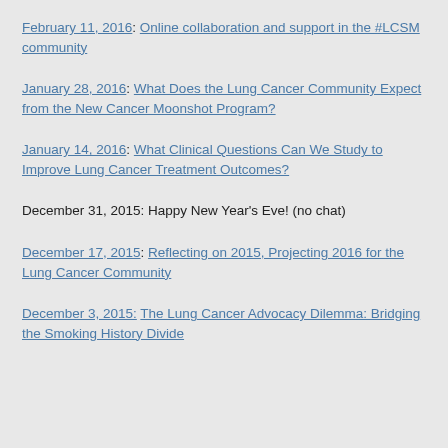February 11, 2016: Online collaboration and support in the #LCSM community
January 28, 2016: What Does the Lung Cancer Community Expect from the New Cancer Moonshot Program?
January 14, 2016: What Clinical Questions Can We Study to Improve Lung Cancer Treatment Outcomes?
December 31, 2015: Happy New Year's Eve! (no chat)
December 17, 2015: Reflecting on 2015, Projecting 2016 for the Lung Cancer Community
December 3, 2015: The Lung Cancer Advocacy Dilemma: Bridging the Smoking History Divide